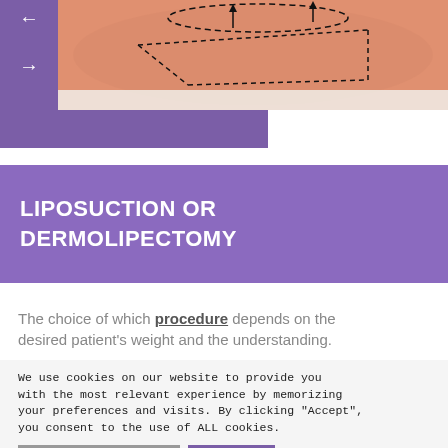[Figure (photo): Medical photo showing a torso with surgical marking lines (dashed) drawn on the abdomen area, with arrows indicating incision points. Navigation arrows (left and right) are shown on a purple sidebar.]
LIPOSUCTION OR DERMOLIPECTOMY
The choice of which procedure depends on the desired patient's weight and the understanding.
We use cookies on our website to provide you with the most relevant experience by memorizing your preferences and visits. By clicking "Accept", you consent to the use of ALL cookies.